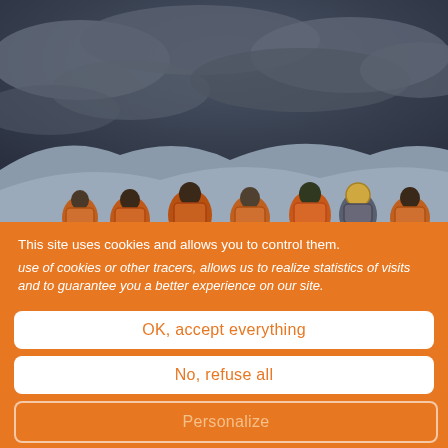[Figure (photo): Outdoor scene with several people wearing orange life vests or safety vests, sitting or crouching on a snowy/icy terrain under a dramatic dark cloudy sky. Appears to be a rescue or expedition scene.]
This site uses cookies and allows you to control them. use of cookies or other tracers, allows us to realize statistics of visits and to guarantee you a better experience on our site.
OK, accept everything
No, refuse all
Personalize